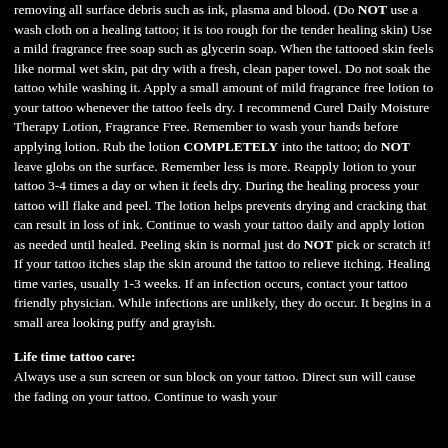removing all surface debris such as ink, plasma and blood. (Do NOT use a wash cloth on a healing tattoo; it is too rough for the tender healing skin) Use a mild fragrance free soap such as glycerin soap. When the tattooed skin feels like normal wet skin, pat dry with a fresh, clean paper towel. Do not soak the tattoo while washing it. Apply a small amount of mild fragrance free lotion to your tattoo whenever the tattoo feels dry. I recommend Curel Daily Moisture Therapy Lotion, Fragrance Free. Remember to wash your hands before applying lotion. Rub the lotion COMPLETELY into the tattoo; do NOT leave globs on the surface. Remember less is more. Reapply lotion to your tattoo 3-4 times a day or when it feels dry. During the healing process your tattoo will flake and peel. The lotion helps prevents drying and cracking that can result in loss of ink. Continue to wash your tattoo daily and apply lotion as needed until healed. Peeling skin is normal just do NOT pick or scratch it! If your tattoo itches slap the skin around the tattoo to relieve itching. Healing time varies, usually 1-3 weeks. If an infection occurs, contact your tattoo friendly physician. While infections are unlikely, they do occur. It begins in a small area looking puffy and grayish.
Life time tattoo care:
Always use a sun screen or sun block on your tattoo. Direct sun will cause the fading on your tattoo. Continue to wash your